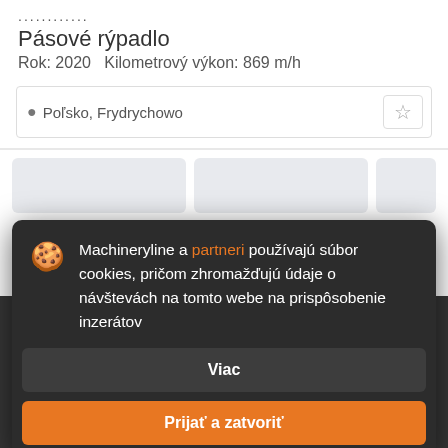Pásové rýpadlo
Rok: 2020   Kilometrový výkon: 869 m/h
Poľsko, Frydrychowo
[Figure (screenshot): Cookie consent modal overlay on a machinery listing website. The modal shows a cookie icon, text in Slovak about Machineryline and partners using cookies, a 'Viac' (More) button, and an orange 'Prijať a zatvoriť' (Accept and close) button.]
Machineryline a partneri používajú súbor cookies, pričom zhromažďujú údaje o návštevách na tomto webe na prispôsobenie inzerátov
Viac
Prijať a zatvoriť